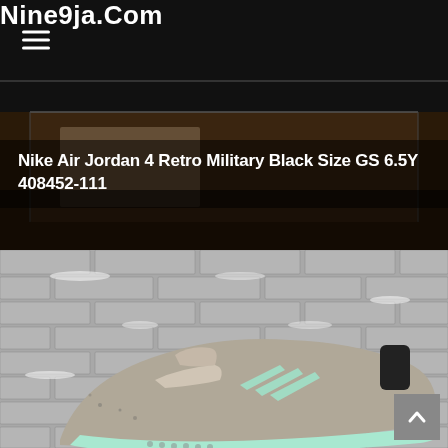Nine9ja.Com
[Figure (photo): Nike Air Jordan 4 Retro Military Black shoe in a box, overlaid with product label text on dark background]
Nike Air Jordan 4 Retro Military Black Size GS 6.5Y 408452-111
[Figure (photo): An Adidas sneaker with grey suede upper, mint green three stripes, black heel pull tab, and mint green sole, photographed on a brick surface with snow]